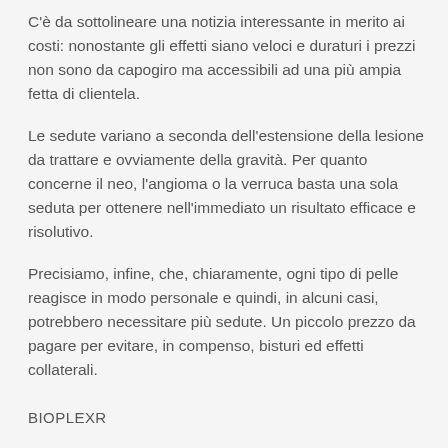C'è da sottolineare una notizia interessante in merito ai costi: nonostante gli effetti siano veloci e duraturi i prezzi non sono da capogiro ma accessibili ad una più ampia fetta di clientela.
Le sedute variano a seconda dell'estensione della lesione da trattare e ovviamente della gravità. Per quanto concerne il neo, l'angioma o la verruca basta una sola seduta per ottenere nell'immediato un risultato efficace e risolutivo.
Precisiamo, infine, che, chiaramente, ogni tipo di pelle reagisce in modo personale e quindi, in alcuni casi, potrebbero necessitare più sedute. Un piccolo prezzo da pagare per evitare, in compenso, bisturi ed effetti collaterali.
BIOPLEXR